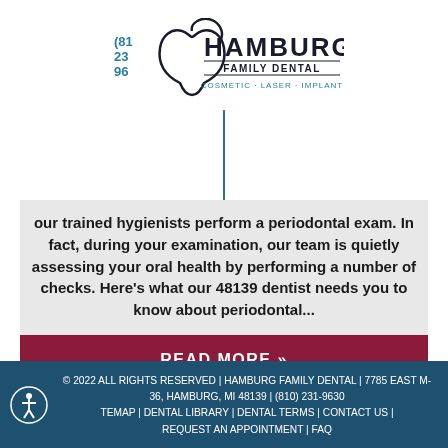[Figure (logo): Hamburg Family Dental logo with phone number (812396) and tagline COSMETIC · LASER · IMPLANT]
our trained hygienists perform a periodontal exam. In fact, during your examination, our team is quietly assessing your oral health by performing a number of checks. Here's what our 48139 dentist needs you to know about periodontal...
READ MORE »
© 2022 ALL RIGHTS RESERVED | HAMBURG FAMILY DENTAL | 7785 EAST M-36, HAMBURG, MI 48139 | (810) 231-9630 TEMAP | DENTAL LIBRARY | DENTAL TERMS | CONTACT US | REQUEST AN APPOINTMENT | FAQ